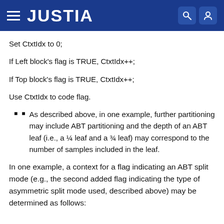JUSTIA
Set CtxtIdx to 0;
If Left block's flag is TRUE, CtxtIdx++;
If Top block's flag is TRUE, CtxtIdx++;
Use CtxtIdx to code flag.
As described above, in one example, further partitioning may include ABT partitioning and the depth of an ABT leaf (i.e., a ¼ leaf and a ¾ leaf) may correspond to the number of samples included in the leaf.
In one example, a context for a flag indicating an ABT split mode (e.g., the second added flag indicating the type of asymmetric split mode used, described above) may be determined as follows: